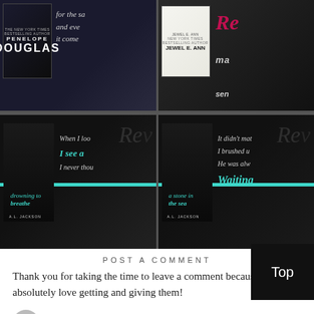[Figure (photo): Grid of book cover images in dark/monochrome style. Top row: Penelope Douglas book cover, text 'for the sa... and eve... it come...', Jewel E. Ann book cover, partial cursive text. Bottom row: A.L. Jackson 'Drowning to Breathe' cover with teal text overlay 'When I loo... I see a... I never thou...', A.L. Jackson 'A Stone in the Sea' cover with teal text overlay 'It didn't mat... I brushed u... He was alw... Waiting']
POST A COMMENT
Thank you for taking the time to leave a comment because I absolutely love getting and giving them!
[Figure (screenshot): Enter Comment input field with user avatar circle icon]